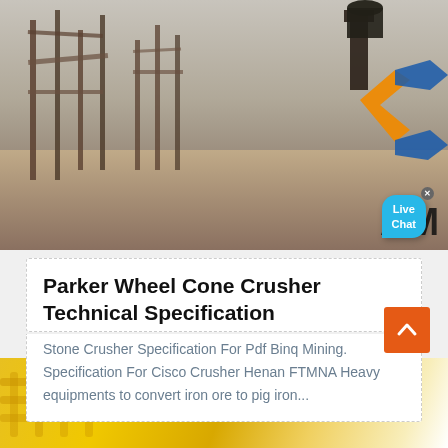[Figure (photo): Industrial mining site with metal scaffold structures on sandy/dry ground, partial company logo (orange and blue) overlaid on right side, with Live Chat bubble in corner]
Parker Wheel Cone Crusher Technical Specification
Stone Crusher Specification For Pdf Binq Mining. Specification For Cisco Crusher Henan FTMNA Heavy equipments to convert iron ore to pig iron...
[Figure (photo): Yellow industrial equipment (partial view), bottom strip]